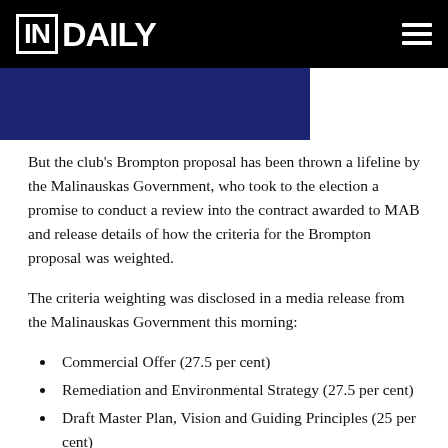IN DAILY
[Figure (photo): Dark navy blue image bar partially visible at top of content area]
But the club's Brompton proposal has been thrown a lifeline by the Malinauskas Government, who took to the election a promise to conduct a review into the contract awarded to MAB and release details of how the criteria for the Brompton proposal was weighted.
The criteria weighting was disclosed in a media release from the Malinauskas Government this morning:
Commercial Offer (27.5 per cent)
Remediation and Environmental Strategy (27.5 per cent)
Draft Master Plan, Vision and Guiding Principles (25 per cent)